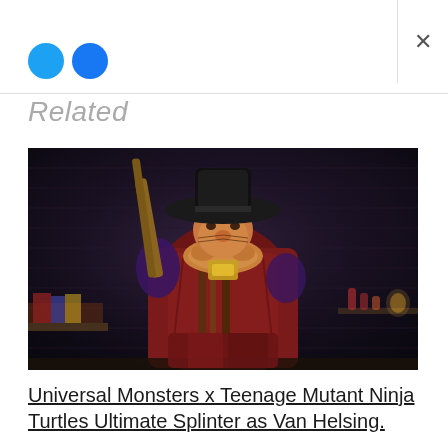[Figure (other): Two small social media icon circles (Twitter blue and Facebook blue) in the top bar area]
Related
[Figure (photo): A detailed action figure of Splinter dressed as Van Helsing, wearing a wide-brimmed black hat, maroon/brown long coat, holding a wooden stake or staff, with a dark brick wall background and items on shelves in the background. This is a NECA Universal Monsters x Teenage Mutant Ninja Turtles figure.]
Universal Monsters x Teenage Mutant Ninja Turtles Ultimate Splinter as Van Helsing.